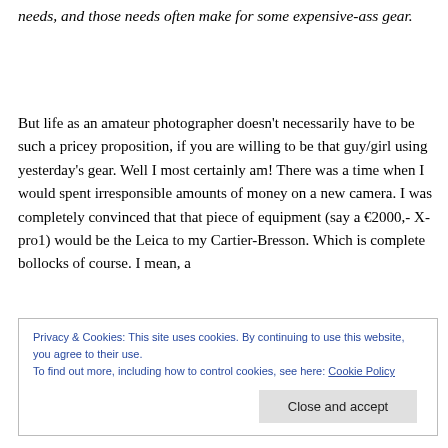needs, and those needs often make for some expensive-ass gear.
But life as an amateur photographer doesn't necessarily have to be such a pricey proposition, if you are willing to be that guy/girl using yesterday's gear. Well I most certainly am! There was a time when I would spent irresponsible amounts of money on a new camera. I was completely convinced that that piece of equipment (say a €2000,- X-pro1) would be the Leica to my Cartier-Bresson. Which is complete bollocks of course. I mean, a
Privacy & Cookies: This site uses cookies. By continuing to use this website, you agree to their use.
To find out more, including how to control cookies, see here: Cookie Policy
Close and accept
tha t...